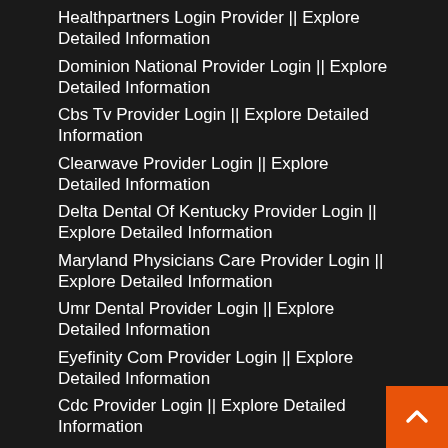Healthpartners Login Provider || Explore Detailed Information
Dominion National Provider Login || Explore Detailed Information
Cbs Tv Provider Login || Explore Detailed Information
Clearwave Provider Login || Explore Detailed Information
Delta Dental Of Kentucky Provider Login || Explore Detailed Information
Maryland Physicians Care Provider Login || Explore Detailed Information
Umr Dental Provider Login || Explore Detailed Information
Eyefinity Com Provider Login || Explore Detailed Information
Cdc Provider Login || Explore Detailed Information
Delta Dental Of Mi Provider Login || Explore Detailed Information